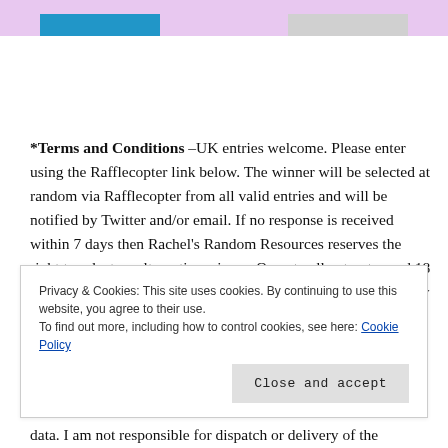[Figure (other): Two partial images at top: a blue rectangle on the left and a gray rectangle on the right, cropped at the top edge]
*Terms and Conditions –UK entries welcome. Please enter using the Rafflecopter link below. The winner will be selected at random via Rafflecopter from all valid entries and will be notified by Twitter and/or email. If no response is received within 7 days then Rachel's Random Resources reserves the right to select an alternative winner. Open to all entrants aged 18 or over. Any personal data given as part of the competition entry and contacting entrants will
Privacy & Cookies: This site uses cookies. By continuing to use this website, you agree to their use.
To find out more, including how to control cookies, see here: Cookie Policy
Close and accept
data. I am not responsible for dispatch or delivery of the